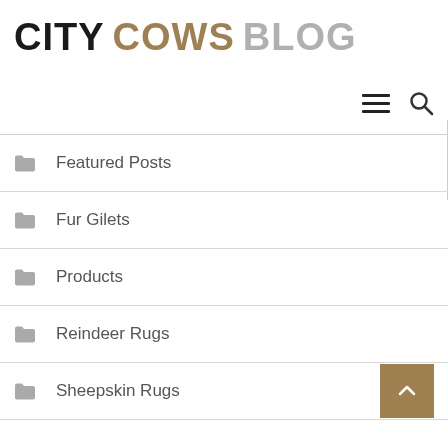CITY COWS BLOG
Featured Posts
Fur Gilets
Products
Reindeer Rugs
Sheepskin Rugs